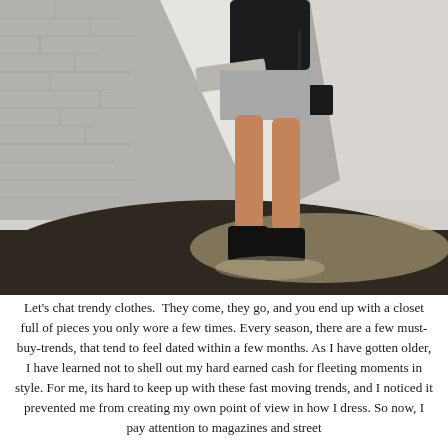[Figure (photo): Fashion photo of a woman from the neck down wearing a black top, grey mini skirt, jacket tied around waist, carrying a dark bag, with black chunky ankle boots. She is standing/walking against a white painted brick wall with a dark concrete floor below.]
Let's chat trendy clothes.  They come, they go, and you end up with a closet full of pieces you only wore a few times. Every season, there are a few must-buy-trends, that tend to feel dated within a few months. As I have gotten older, I have learned not to shell out my hard earned cash for fleeting moments in style. For me, its hard to keep up with these fast moving trends, and I noticed it prevented me from creating my own point of view in how I dress. So now, I pay attention to magazines and street